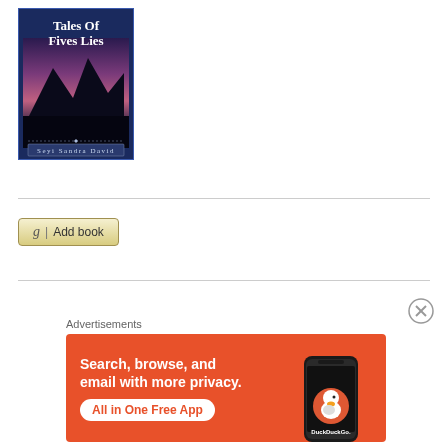[Figure (illustration): Book cover for 'Tales Of Fives Lies' by Seyi Sandra David. Dark blue cover with silhouette of mountains and purple/pink sky. Title text in white serif font at top, author name at bottom in a styled banner.]
g | Add book
[Figure (illustration): Close/dismiss button (X in circle) in the top right area.]
Advertisements
[Figure (illustration): DuckDuckGo advertisement banner. Orange background. Text: 'Search, browse, and email with more privacy. All in One Free App'. Shows a smartphone image and DuckDuckGo duck logo with text 'DuckDuckGo.']